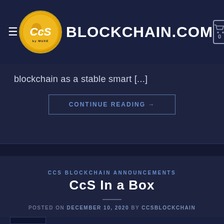CCS BLOCKCHAIN.COM
blockchain as a stable smart [...]
CONTINUE READING →
Posted in CcS Blockchain Announcements   Leave a comment
CCS BLOCKCHAIN ANNOUNCEMENTS
CcS In a Box
POSTED ON DECEMBER 10, 2020 BY CCSBLOCKCHAIN